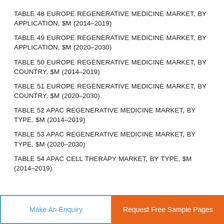TABLE 48 EUROPE REGENERATIVE MEDICINE MARKET, BY APPLICATION, $M (2014–2019)
TABLE 49 EUROPE REGENERATIVE MEDICINE MARKET, BY APPLICATION, $M (2020–2030)
TABLE 50 EUROPE REGENERATIVE MEDICINE MARKET, BY COUNTRY, $M (2014–2019)
TABLE 51 EUROPE REGENERATIVE MEDICINE MARKET, BY COUNTRY, $M (2020–2030)
TABLE 52 APAC REGENERATIVE MEDICINE MARKET, BY TYPE, $M (2014–2019)
TABLE 53 APAC REGENERATIVE MEDICINE MARKET, BY TYPE, $M (2020–2030)
TABLE 54 APAC CELL THERAPY MARKET, BY TYPE, $M (2014–2019)